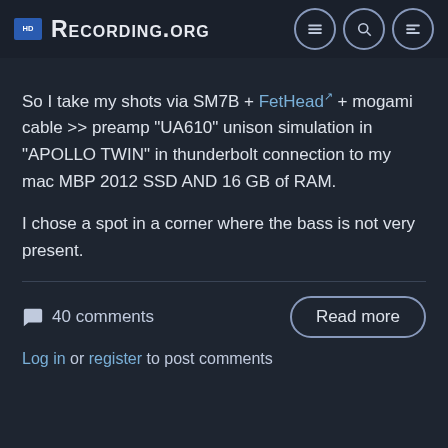Recording.org
So I take my shots via SM7B + FetHead + mogami cable >> preamp "UA610" unison simulation in "APOLLO TWIN" in thunderbolt connection to my mac MBP 2012 SSD AND 16 GB of RAM.
I chose a spot in a corner where the bass is not very present.
40 comments
Read more
Log in or register to post comments